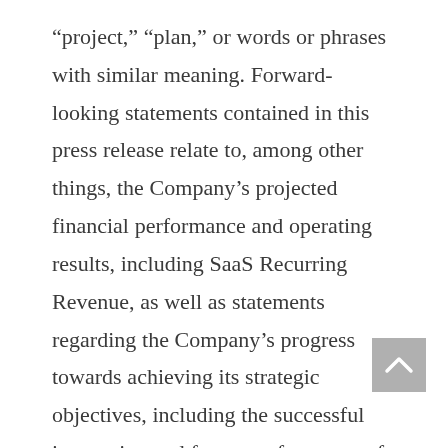“project,” “plan,” or words or phrases with similar meaning. Forward-looking statements contained in this press release relate to, among other things, the Company’s projected financial performance and operating results, including SaaS Recurring Revenue, as well as statements regarding the Company’s progress towards achieving its strategic objectives, including the successful integration and future performance of acquisitions and performance of SoloFire. Forward-looking statements are based on current expectations, forecasts and assumptions, that involve risks and